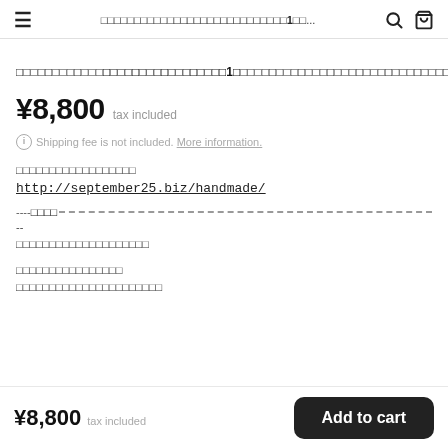（Japanese text） 1（Japanese text）... 🔍 🛒
（Japanese product title with bold section and 1個）
¥8,800  tax included
ℹ Shipping fee is not included. More information.
（Japanese URL label text）
http://september25.biz/handmade/
----（Japanese）-----...
--
（Japanese description text）
（Japanese text）
（Japanese text）
¥8,800  tax included  Add to cart